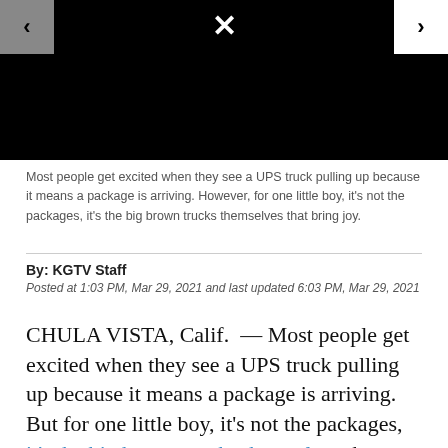[Figure (screenshot): Black image viewer with navigation arrows on left (grey background) and right (white background), and an X close icon at the top center in white on black background.]
Most people get excited when they see a UPS truck pulling up because it means a package is arriving. However, for one little boy, it's not the packages, it's the big brown trucks themselves that bring joy.
By: KGTV Staff
Posted at 1:03 PM, Mar 29, 2021 and last updated 6:03 PM, Mar 29, 2021
CHULA VISTA, Calif.  — Most people get excited when they see a UPS truck pulling up because it means a package is arriving. But for one little boy, it's not the packages, it's the big brown trucks themselves that bring him joy.